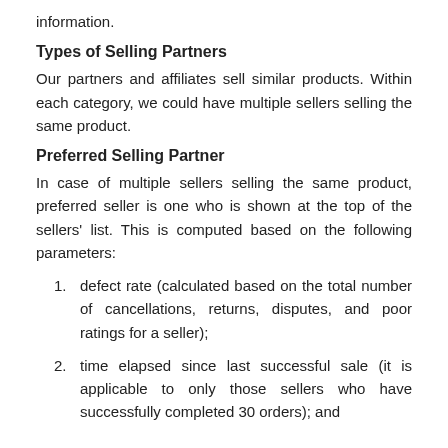information.
Types of Selling Partners
Our partners and affiliates sell similar products. Within each category, we could have multiple sellers selling the same product.
Preferred Selling Partner
In case of multiple sellers selling the same product, preferred seller is one who is shown at the top of the sellers' list. This is computed based on the following parameters:
defect rate (calculated based on the total number of cancellations, returns, disputes, and poor ratings for a seller);
time elapsed since last successful sale (it is applicable to only those sellers who have successfully completed 30 orders); and